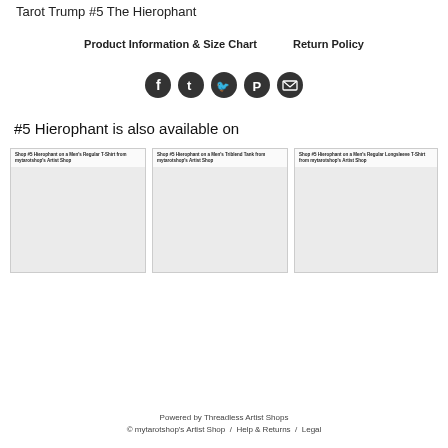Tarot Trump #5 The Hierophant
Product Information & Size Chart   Return Policy
[Figure (infographic): Five social media share icons as dark circles: Facebook, Tumblr, Twitter, Pinterest, Email]
#5 Hierophant is also available on
[Figure (infographic): Shop #5 Hierophant on a Men's Regular T-Shirt from mytarotshop's Artist Shop - product card placeholder image]
[Figure (infographic): Shop #5 Hierophant on a Men's Triblend Tank from mytarotshop's Artist Shop - product card placeholder image]
[Figure (infographic): Shop #5 Hierophant on a Men's Regular Longsleeve T-Shirt from mytarotshop's Artist Shop - product card placeholder image]
Powered by Threadless Artist Shops
© mytarotshop's Artist Shop / Help & Returns / Legal